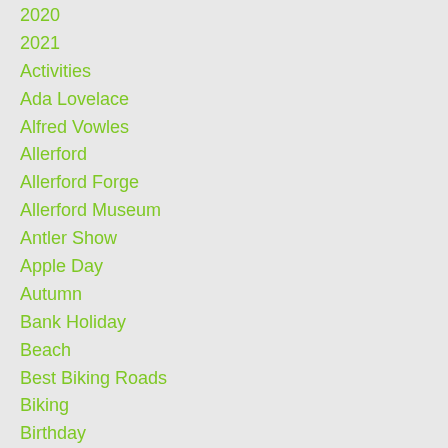2020
2021
Activities
Ada Lovelace
Alfred Vowles
Allerford
Allerford Forge
Allerford Museum
Antler Show
Apple Day
Autumn
Bank Holiday
Beach
Best Biking Roads
Biking
Birthday
Blue Anchor
Boat Trip
Bonfire